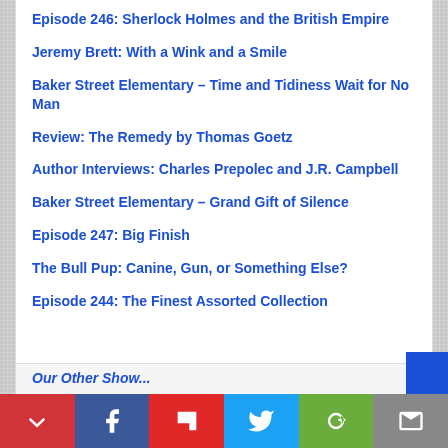Episode 246: Sherlock Holmes and the British Empire
Jeremy Brett: With a Wink and a Smile
Baker Street Elementary – Time and Tidiness Wait for No Man
Review: The Remedy by Thomas Goetz
Author Interviews: Charles Prepolec and J.R. Campbell
Baker Street Elementary – Grand Gift of Silence
Episode 247: Big Finish
The Bull Pup: Canine, Gun, or Something Else?
Episode 244: The Finest Assorted Collection
Our Other Show...